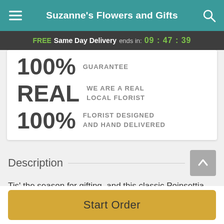Suzanne's Flowers and Gifts
FREE Same Day Delivery ends in: 09:47:39
100% GUARANTEE
REAL WE ARE A REAL LOCAL FLORIST
100% FLORIST DESIGNED AND HAND DELIVERED
Description
Tis' the season for gifting, and this classic Poinsettia certainly fits the bill. Make them feel loved this Christmas...
Start Order